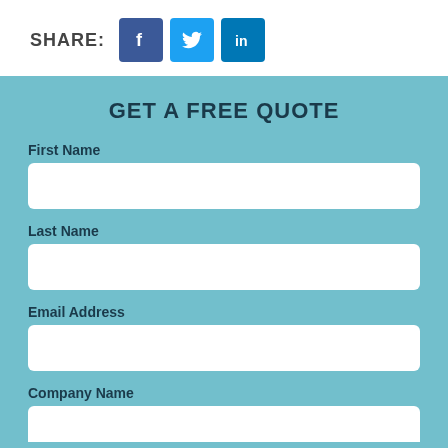SHARE:
[Figure (infographic): Social media share icons: Facebook (blue square with white f), Twitter (light blue square with white bird), LinkedIn (blue square with white 'in')]
GET A FREE QUOTE
First Name
Last Name
Email Address
Company Name